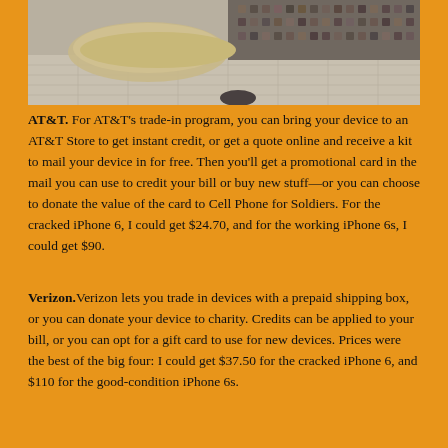[Figure (photo): A photo of an outdoor plaza area with curved stone/concrete structures, mosaic tile walls, and a paved ground.]
AT&T. For AT&T's trade-in program, you can bring your device to an AT&T Store to get instant credit, or get a quote online and receive a kit to mail your device in for free. Then you'll get a promotional card in the mail you can use to credit your bill or buy new stuff—or you can choose to donate the value of the card to Cell Phone for Soldiers. For the cracked iPhone 6, I could get $24.70, and for the working iPhone 6s, I could get $90.
Verizon. Verizon lets you trade in devices with a prepaid shipping box, or you can donate your device to charity. Credits can be applied to your bill, or you can opt for a gift card to use for new devices. Prices were the best of the big four: I could get $37.50 for the cracked iPhone 6, and $110 for the good-condition iPhone 6s.